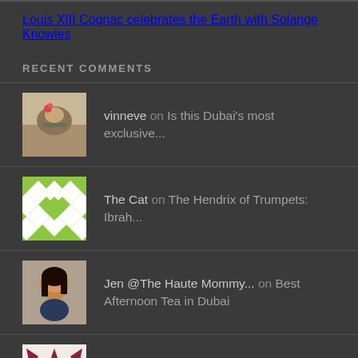Louis XIII Cognac celebrates the Earth with Solange Knowles
RECENT COMMENTS
vinneve on Is this Dubai's most exclusive...
The Cat on The Hendrix of Trumpets: Ibrah...
Jen @The Haute Mommy... on Best Afternoon Tea in Dubai
David Lee-Channing on UB40 Back To Their Roots